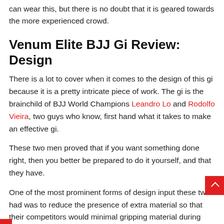can wear this, but there is no doubt that it is geared towards the more experienced crowd.
Venum Elite BJJ Gi Review: Design
There is a lot to cover when it comes to the design of this gi because it is a pretty intricate piece of work. The gi is the brainchild of BJJ World Champions Leandro Lo and Rodolfo Vieira, two guys who know, first hand what it takes to make an effective gi.
These two men proved that if you want something done right, then you better be prepared to do it yourself, and that they have.
One of the most prominent forms of design input these two had was to reduce the presence of extra material so that their competitors would minimal gripping material during